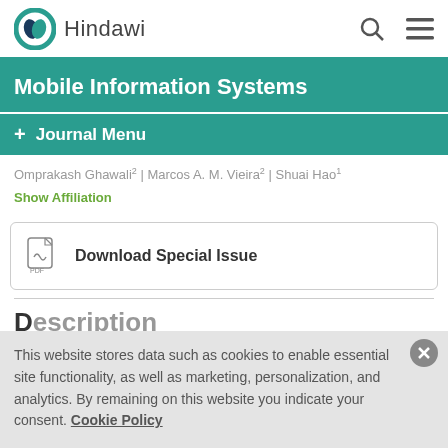Hindawi
Mobile Information Systems
+ Journal Menu
Omprakash Ghawali² | Marcos A. M. Vieira² | Shuai Hao¹
Show Affiliation
Download Special Issue
Description
This website stores data such as cookies to enable essential site functionality, as well as marketing, personalization, and analytics. By remaining on this website you indicate your consent. Cookie Policy